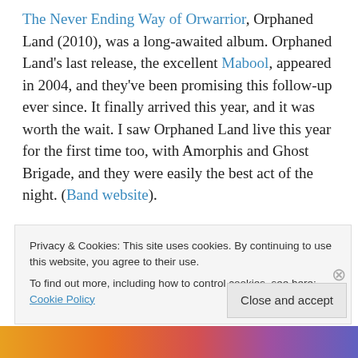The Never Ending Way of Orwarrior, Orphaned Land (2010), was a long-awaited album. Orphaned Land's last release, the excellent Mabool, appeared in 2004, and they've been promising this follow-up ever since. It finally arrived this year, and it was worth the wait. I saw Orphaned Land live this year for the first time too, with Amorphis and Ghost Brigade, and they were easily the best act of the night. (Band website).
Honourable mentions: Engines of Armageddon's self-released debut album; The Light in Which We All Burn,
Privacy & Cookies: This site uses cookies. By continuing to use this website, you agree to their use. To find out more, including how to control cookies, see here: Cookie Policy